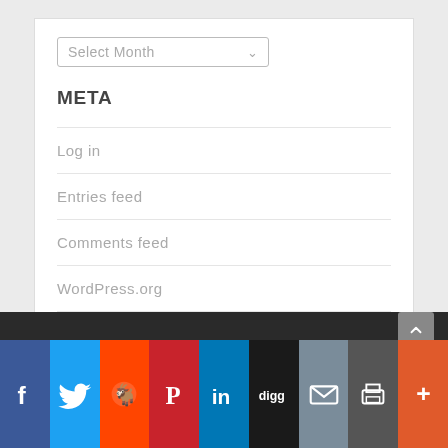[Figure (screenshot): A dropdown select box labeled 'Select Month' with a down arrow]
META
Log in
Entries feed
Comments feed
WordPress.org
[Figure (infographic): Social media sharing bar with icons: Facebook, Twitter, Reddit, Pinterest, LinkedIn, Digg, Email, Print, More]